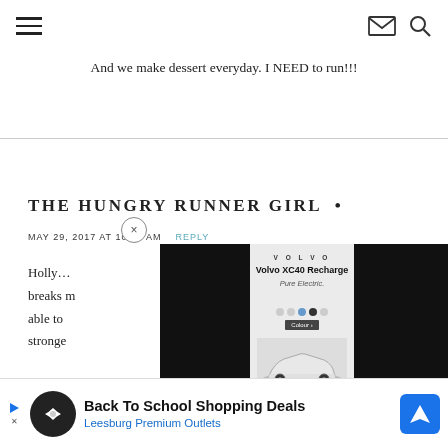Navigation header with hamburger menu, mail icon, and search icon
And we make dessert everyday. I NEED to run!!!
THE HUNGRY RUNNER GIRL •
MAY 29, 2017 AT 10:07 AM    REPLY
Holly… [text partially obscured] breaks m[y heart] able to [run] stronger
[Figure (screenshot): Volvo XC40 Recharge Pure Electric advertisement overlay with black side panels]
[Figure (screenshot): Bottom banner ad: Back To School Shopping Deals - Leesburg Premium Outlets with navigation icon]